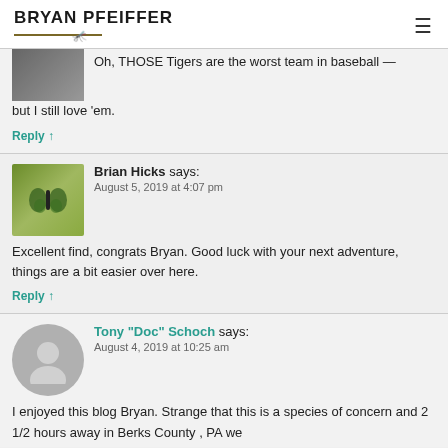BRYAN PFEIFFER
Oh, THOSE Tigers are the worst team in baseball — but I still love 'em.
Reply ↑
Brian Hicks says: August 5, 2019 at 4:07 pm
Excellent find, congrats Bryan. Good luck with your next adventure, things are a bit easier over here.
Reply ↑
Tony "Doc" Schoch says: August 4, 2019 at 10:25 am
I enjoyed this blog Bryan. Strange that this is a species of concern and 2 1/2 hours away in Berks County , PA we